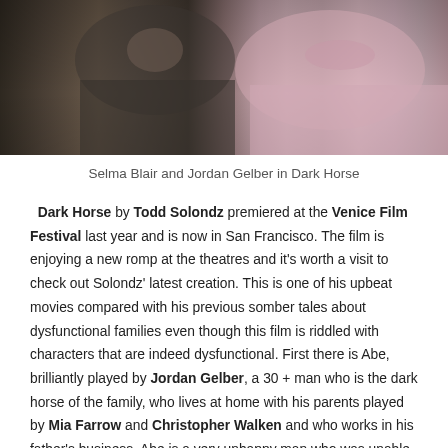[Figure (photo): Close-up photograph of two people. On the left, a person wearing a dark grey zip-up hoodie/jacket. On the right, a person wearing a light pink polo shirt.]
Selma Blair and Jordan Gelber in Dark Horse
Dark Horse by Todd Solondz premiered at the Venice Film Festival last year and is now in San Francisco. The film is enjoying a new romp at the theatres and it's worth a visit to check out Solondz' latest creation. This is one of his upbeat movies compared with his previous somber tales about dysfunctional families even though this film is riddled with characters that are indeed dysfunctional. First there is Abe, brilliantly played by Jordan Gelber, a 30 + man who is the dark horse of the family, who lives at home with his parents played by Mia Farrow and Christopher Walken and who works in his father's business. Abe is a very unhappy man who was unable to strike out on his own and remained at home unlike his successful brother Richard, played by Justin Bartha, a doctor, who he felt...